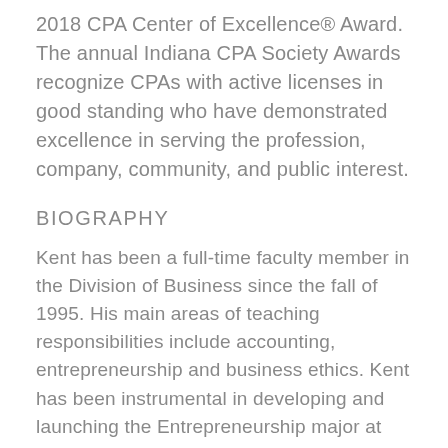2018 CPA Center of Excellence® Award. The annual Indiana CPA Society Awards recognize CPAs with active licenses in good standing who have demonstrated excellence in serving the profession, company, community, and public interest.
BIOGRAPHY
Kent has been a full-time faculty member in the Division of Business since the fall of 1995. His main areas of teaching responsibilities include accounting, entrepreneurship and business ethics. Kent has been instrumental in developing and launching the Entrepreneurship major at Indiana Wesleyan University in the fall of 2005. Prior to his tenure at IWU, he held several corporate accounting and tax positions.
INTERESTS